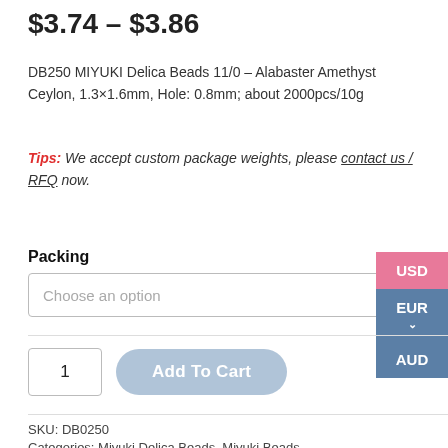$3.74 – $3.86
DB250 MIYUKI Delica Beads 11/0 – Alabaster Amethyst Ceylon, 1.3×1.6mm, Hole: 0.8mm; about 2000pcs/10g
Tips: We accept custom package weights, please contact us / RFQ now.
Packing
Choose an option
1
Add To Cart
SKU: DB0250
Categories: Miyuki Delica Beads, Miyuki Beads
Tags: 11.0 Delica Bead (DB), DB250